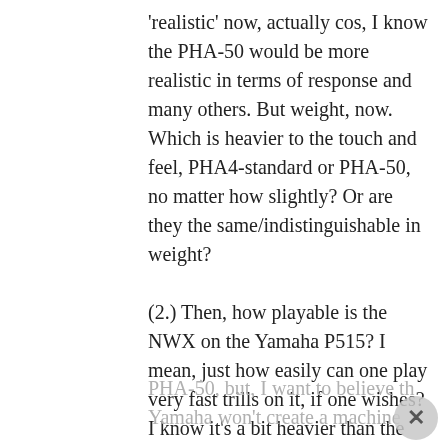'realistic' now, actually cos, I know the PHA-50 would be more realistic in terms of response and many others. But weight, now. Which is heavier to the touch and feel, PHA4-standard or PHA-50, no matter how slightly? Or are they the same/indistinguishable in weight?

(2.) Then, how playable is the NWX on the Yamaha P515? I mean, just how easily can one play very fast trills on it, if one wishes? I know it's a bit heavier than the PHA-50, but, I want to believe th... Yamaha won't create a machine...